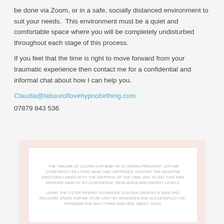be done via Zoom, or in a safe, socially distanced environment to suit your needs.  This environment must be a quiet and comfortable space where you will be completely undisturbed throughout each stage of this process.
If you feel that the time is right to move forward from your traumatic experience then contact me for a confidential and informal chat about how I can help you.
Claudia@labouroflovehypnobirthing.com
07879 843 536
[Figure (other): Testimonial quote box with pink outer background and white inner card containing italic uppercase text about trauma and 3 step rewind technique]
"THE TRAUMA OF LOSING OUR BABY AT 22 WEEKS PREGNANT LEFT ME CONSTANTLY RE-LIVING WHAT HAD HAPPENED, IGNITING THE NEGATIVE EMOTIONS LINKED WITH THE DISTRESS OF THE TIME. DAY TO DAY THIS WAS WEARING AWAY AT MY CONFIDENCE, RESILIENCE AND ENERGY LEVELS.
USING THE 3 STEP REWIND TECHNIQUE CLAUDIA CREATED A SAFE AND RELAXING SPACE FOR ME TO RE-VISIT MY MEMORIES AND SUCCESSFULLY RE-PROGRAM THE WAY I THINK AND FEEL ABOUT THEM.